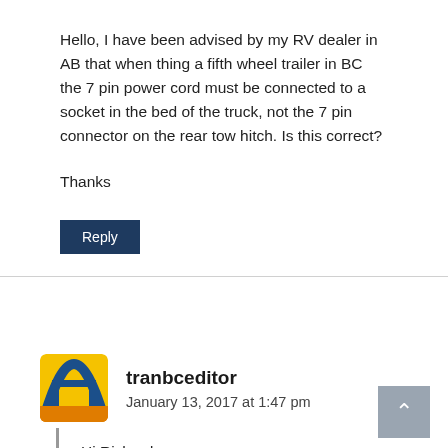Hello, I have been advised by my RV dealer in AB that when thing a fifth wheel trailer in BC the 7 pin power cord must be connected to a socket in the bed of the truck, not the 7 pin connector on the rear tow hitch. Is this correct?
Thanks
[Figure (other): Reply button - dark navy blue rectangular button with white text 'Reply']
[Figure (logo): Tranbceditor avatar - yellow/orange and blue logo with road/highway design]
tranbceditor
January 13, 2017 at 1:47 pm
Hi Richard,